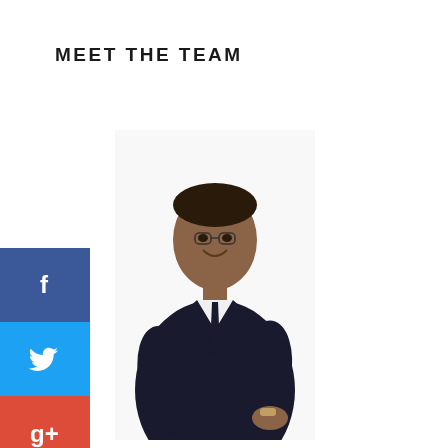MEET THE TEAM
[Figure (photo): Professional photo of Reagon Stroude in a dark suit, smiling, posed against white background]
[Figure (infographic): Social media share sidebar with Facebook (blue), Twitter (light blue), Google+ (red), and LinkedIn (dark blue) buttons]
Reagon Stroude
Research Officer
Reagon assists companies in developing their export strategy through in-depth market research. His market analysis involves assessing market factors such
[Figure (photo): Partial photo of a second team member (woman with dark hair), cropped at bottom of page]